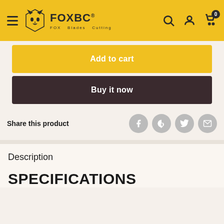[Figure (screenshot): FOXBC website header with logo, hamburger menu, search icon, user icon, and cart icon with badge showing 0]
Add to cart
Buy it now
Share this product
Description
SPECIFICATIONS